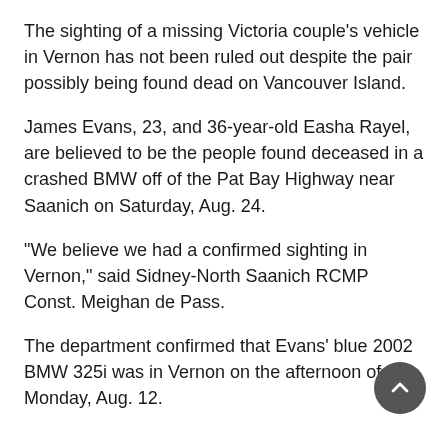The sighting of a missing Victoria couple’s vehicle in Vernon has not been ruled out despite the pair possibly being found dead on Vancouver Island.
James Evans, 23, and 36-year-old Easha Rayel, are believed to be the people found deceased in a crashed BMW off of the Pat Bay Highway near Saanich on Saturday, Aug. 24.
“We believe we had a confirmed sighting in Vernon,” said Sidney-North Saanich RCMP Const. Meighan de Pass.
The department confirmed that Evans’ blue 2002 BMW 325i was in Vernon on the afternoon of Monday, Aug. 12.